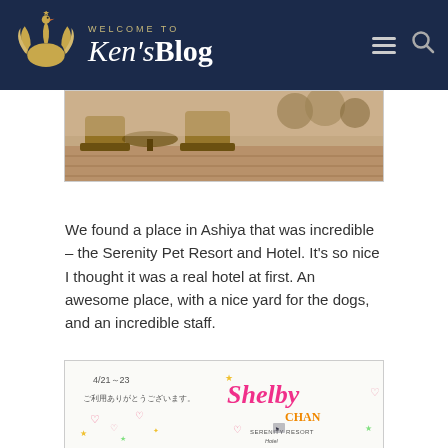WELCOME TO Ken'sBlog
[Figure (photo): Partial view of an outdoor terrace or deck area with wicker chairs, possibly at a pet resort]
We found a place in Ashiya that was incredible – the Serenity Pet Resort and Hotel. It's so nice I thought it was a real hotel at first. An awesome place, with a nice yard for the dogs, and an incredible staff.
[Figure (photo): A handwritten welcome card from Serenity Resort Hotel for a dog named Shelby Chan, with Japanese text, dates 4/21~23, hearts and stars decorations in pink and yellow]